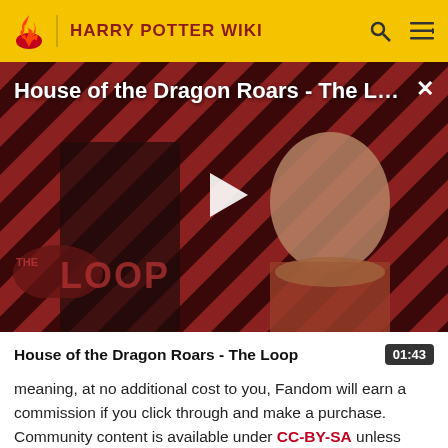HARRY POTTER WIKI
[Figure (screenshot): Video thumbnail for 'House of the Dragon Roars - The L...' showing two characters in front of a red and black diagonal stripe background with 'THE LOOP' branding. A white play button triangle is centered on the image. Close button X in top right.]
House of the Dragon Roars - The Loop
meaning, at no additional cost to you, Fandom will earn a commission if you click through and make a purchase. Community content is available under CC-BY-SA unless